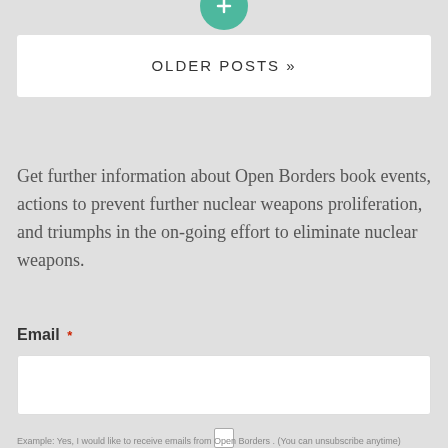[Figure (other): Green circular button at top center of page]
OLDER POSTS »
Get further information about Open Borders book events, actions to prevent further nuclear weapons proliferation, and triumphs in the on-going effort to eliminate nuclear weapons.
Email *
Example: Yes, I would like to receive emails from Open Borders . (You can unsubscribe anytime)